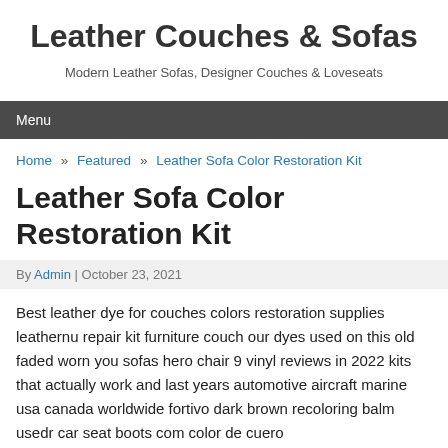Leather Couches & Sofas
Modern Leather Sofas, Designer Couches & Loveseats
Menu
Home » Featured » Leather Sofa Color Restoration Kit
Leather Sofa Color Restoration Kit
By Admin | October 23, 2021
Best leather dye for couches colors restoration supplies leathernu repair kit furniture couch our dyes used on this old faded worn you sofas hero chair 9 vinyl reviews in 2022 kits that actually work and last years automotive aircraft marine usa canada worldwide fortivo dark brown recoloring balm usedr car seat boots com color de cuero